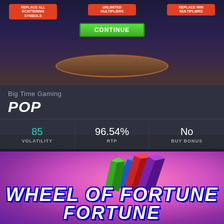[Figure (screenshot): Slot game screenshot showing bonus selection screen with three red buttons labeled 'REPLACE ALL SCATTERING SYMBOLS', 'UNLIMITED MULTIPLIERS', and a third option, a green CONTINUE button, and an oval gaming table beneath on dark purple background]
Big Time Gaming
POP
| VOLATILITY | RTP | BUY BONUS |
| --- | --- | --- |
| 85 | 96.54% | No |
[Figure (screenshot): Wheel of Fortune slot game logo on pink/purple radial gradient background with colorful 3D block shapes (blue, green, red, purple) at top and large white bold italic text 'WHEEL OF FORTUNE' with blue outline]